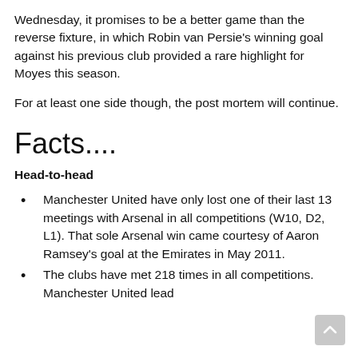Wednesday, it promises to be a better game than the reverse fixture, in which Robin van Persie's winning goal against his previous club provided a rare highlight for Moyes this season.
For at least one side though, the post mortem will continue.
Facts....
Head-to-head
Manchester United have only lost one of their last 13 meetings with Arsenal in all competitions (W10, D2, L1). That sole Arsenal win came courtesy of Aaron Ramsey's goal at the Emirates in May 2011.
The clubs have met 218 times in all competitions. Manchester United lead